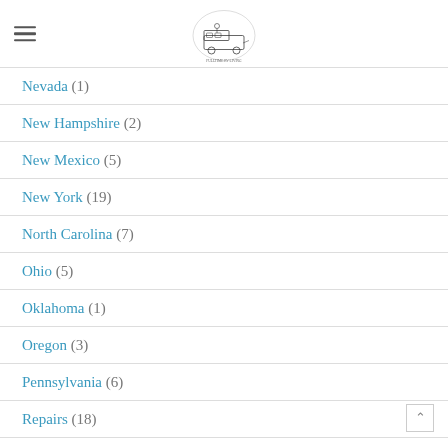Navigation menu with logo
Nevada (1)
New Hampshire (2)
New Mexico (5)
New York (19)
North Carolina (7)
Ohio (5)
Oklahoma (1)
Oregon (3)
Pennsylvania (6)
Repairs (18)
Rhode Island (1)